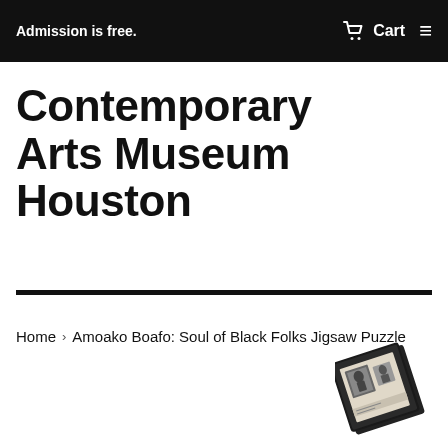Admission is free.   Cart
Contemporary Arts Museum Houston
Home › Amoako Boafo: Soul of Black Folks Jigsaw Puzzle
[Figure (photo): A small jigsaw puzzle box tilted at an angle, showing what appears to be artwork on the cover, with a dark box outline.]